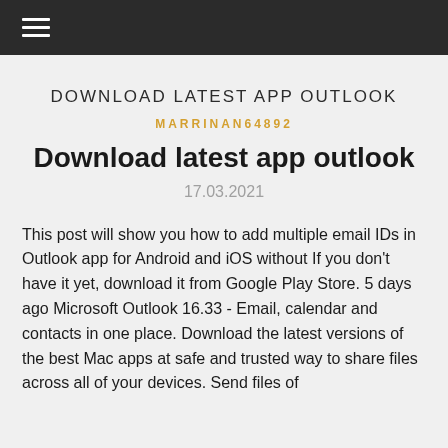☰
DOWNLOAD LATEST APP OUTLOOK
MARRINAN64892
Download latest app outlook
17.03.2021
This post will show you how to add multiple email IDs in Outlook app for Android and iOS without If you don't have it yet, download it from Google Play Store. 5 days ago Microsoft Outlook 16.33 - Email, calendar and contacts in one place. Download the latest versions of the best Mac apps at safe and trusted way to share files across all of your devices. Send files of